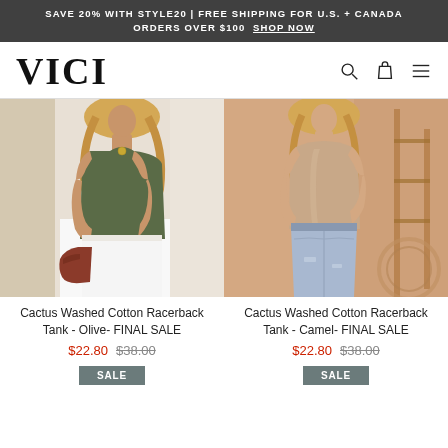SAVE 20% WITH STYLE20 | FREE SHIPPING FOR U.S. + CANADA ORDERS OVER $100  SHOP NOW
[Figure (logo): VICI brand logo in large serif bold font]
[Figure (photo): Woman wearing Cactus Washed Cotton Racerback Tank in Olive color with white pants and brown clutch]
Cactus Washed Cotton Racerback Tank - Olive- FINAL SALE
$22.80  $38.00
[Figure (photo): Woman wearing Cactus Washed Cotton Racerback Tank in Camel color with light blue denim shorts]
Cactus Washed Cotton Racerback Tank - Camel- FINAL SALE
$22.80  $38.00